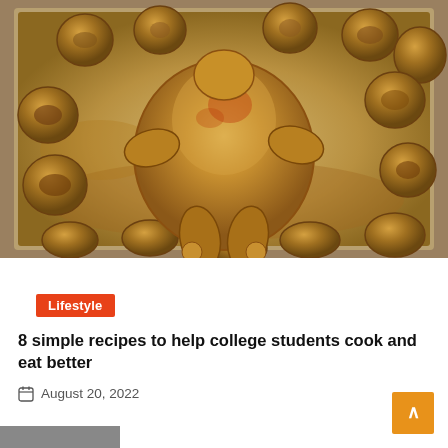[Figure (photo): Overhead photo of a whole roasted chicken surrounded by halved roasted potatoes on a metal baking sheet tray, golden-brown color]
Lifestyle
8 simple recipes to help college students cook and eat better
August 20, 2022